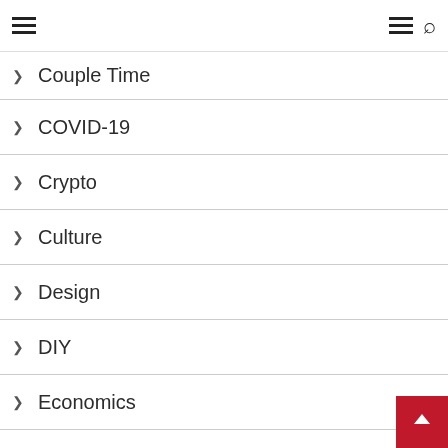Navigation menu header with hamburger icons and search
> Couple Time
> COVID-19
> Crypto
> Culture
> Design
> DIY
> Economics
> Education
> Entertainment